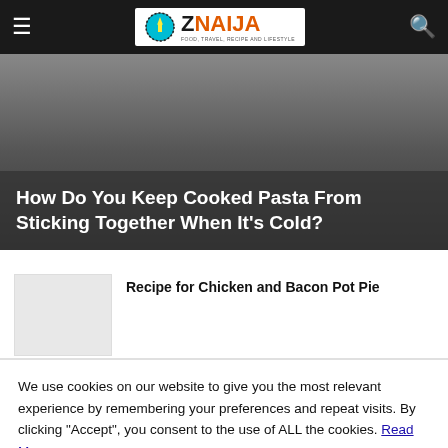ZNaija - navbar with hamburger menu, logo, and search icon
[Figure (screenshot): Hero image with dark gray gradient background and overlaid article title text]
How Do You Keep Cooked Pasta From Sticking Together When It's Cold?
[Figure (photo): Thumbnail placeholder image for the chicken and bacon pot pie article]
Recipe for Chicken and Bacon Pot Pie
We use cookies on our website to give you the most relevant experience by remembering your preferences and repeat visits. By clicking "Accept", you consent to the use of ALL the cookies. Read More
Cookie settings | ACCEPT